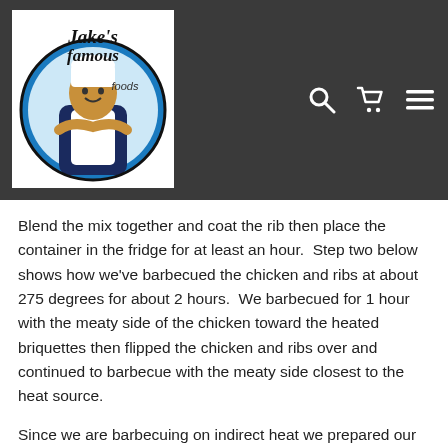[Figure (logo): Jake's Famous Foods logo with chef character in a circular blue and white design with script text]
Blend the mix together and coat the rib then place the container in the fridge for at least an hour.  Step two below shows how we've barbecued the chicken and ribs at about 275 degrees for about 2 hours.  We barbecued for 1 hour with the meaty side of the chicken toward the heated briquettes then flipped the chicken and ribs over and continued to barbecue with the meaty side closest to the heat source.
Since we are barbecuing on indirect heat we prepared our charcoal just until the coals began to ash white then we spread the coals to one side away from the meat to be cooked. Place the Chicken and Beef Ribs on the grill. Put the lid on and add a temperature thermometer to track the heat level. On our